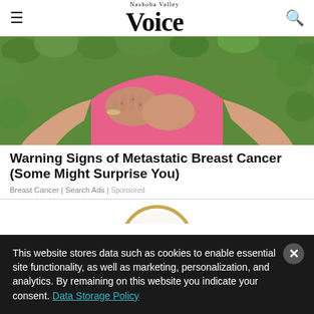Nashoba Valley Voice
[Figure (photo): Woman in pink shirt holding her chest/breast area with both hands, green leafy background — breast cancer awareness photo]
Warning Signs of Metastatic Breast Cancer (Some Might Surprise You)
Breast Cancer | Search Ads | Sponsored
[Figure (photo): Partial circular image visible at bottom, gold/tan colored border]
This website stores data such as cookies to enable essential site functionality, as well as marketing, personalization, and analytics. By remaining on this website you indicate your consent. Data Storage Policy